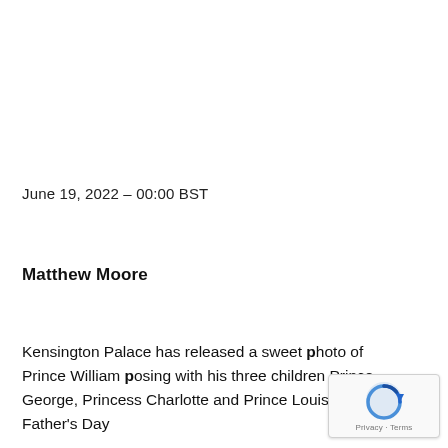June 19, 2022 – 00:00 BST
Matthew Moore
Kensington Palace has released a sweet photo of Prince William posing with his three children Prince George, Princess Charlotte and Prince Louis to mark Father's Day
[Figure (logo): reCAPTCHA badge with blue arrow icon and Privacy/Terms text]